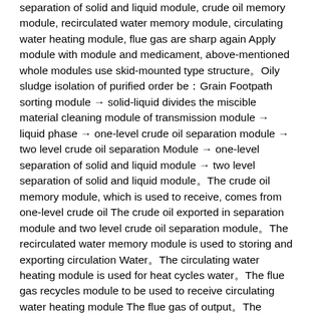separation of solid and liquid module, crude oil memory module, recirculated water memory module, circulating water heating module, flue gas are sharp again Apply module with module and medicament, above-mentioned whole modules use skid-mounted type structure。Oily sludge isolation of purified order be：Grain Footpath sorting module → solid-liquid divides the miscible material cleaning module of transmission module → liquid phase → one-level crude oil separation module → two level crude oil separation Module → one-level separation of solid and liquid module → two level separation of solid and liquid module。The crude oil memory module, which is used to receive, comes from one-level crude oil The crude oil exported in separation module and two level crude oil separation module。The recirculated water memory module is used to storing and exporting circulation Water。The circulating water heating module is used for heat cycles water。The flue gas recycles module to be used to receive circulating water heating module The flue gas of output。The medicament applies module and is used to export medicament used in oily sludge isolation of purified。
Rotary screen is provided with the particle size sorting